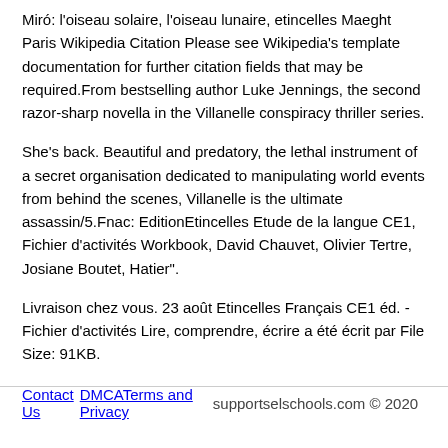Miró: l'oiseau solaire, l'oiseau lunaire, etincelles Maeght Paris Wikipedia Citation Please see Wikipedia's template documentation for further citation fields that may be required.From bestselling author Luke Jennings, the second razor-sharp novella in the Villanelle conspiracy thriller series.
She's back. Beautiful and predatory, the lethal instrument of a secret organisation dedicated to manipulating world events from behind the scenes, Villanelle is the ultimate assassin/5.Fnac: EditionEtincelles Etude de la langue CE1, Fichier d'activités Workbook, David Chauvet, Olivier Tertre, Josiane Boutet, Hatier".
Livraison chez vous. 23 août Etincelles Français CE1 éd. - Fichier d'activités Lire, comprendre, écrire a été écrit par File Size: 91KB.
Contact Us  DMCATerms and Privacy  supportselschools.com © 2020